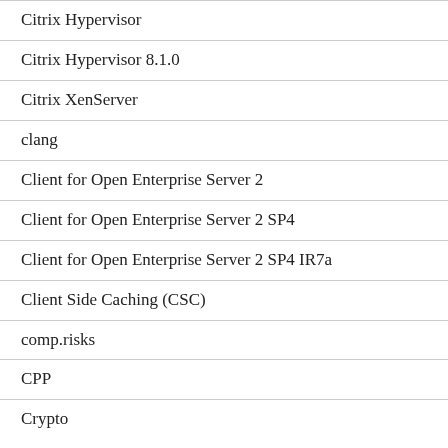Citrix Hypervisor
Citrix Hypervisor 8.1.0
Citrix XenServer
clang
Client for Open Enterprise Server 2
Client for Open Enterprise Server 2 SP4
Client for Open Enterprise Server 2 SP4 IR7a
Client Side Caching (CSC)
comp.risks
CPP
Crypto